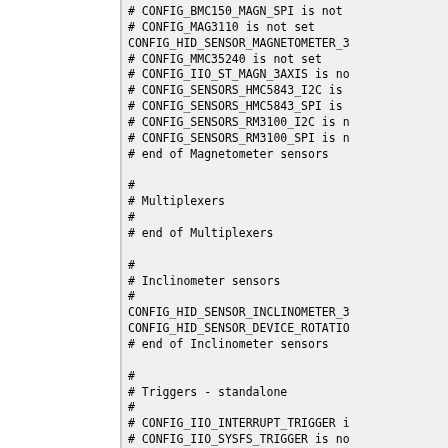# CONFIG_BMC150_MAGN_SPI is not
# CONFIG_MAG3110 is not set
CONFIG_HID_SENSOR_MAGNETOMETER_3
# CONFIG_MMC35240 is not set
# CONFIG_IIO_ST_MAGN_3AXIS is no
# CONFIG_SENSORS_HMC5843_I2C is
# CONFIG_SENSORS_HMC5843_SPI is
# CONFIG_SENSORS_RM3100_I2C is n
# CONFIG_SENSORS_RM3100_SPI is n
# end of Magnetometer sensors

#
# Multiplexers
#
# end of Multiplexers

#
# Inclinometer sensors
#
CONFIG_HID_SENSOR_INCLINOMETER_3
CONFIG_HID_SENSOR_DEVICE_ROTATIO
# end of Inclinometer sensors

#
# Triggers - standalone
#
# CONFIG_IIO_INTERRUPT_TRIGGER i
# CONFIG_IIO_SYSFS_TRIGGER is no
# end of Triggers - standalone

#
# Linear and angular position se